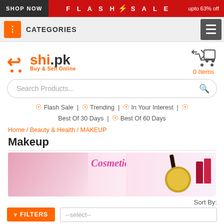SHOP NOW | FLASH SALE | upto 63% off
CATEGORIES
[Figure (logo): Tshi.pk logo with orange shopping cart icon and tagline 'Buy & Sell Online']
0 Items
Search Products...
Flash Sale | Trending | In Your Interest | Best Of 30 Days | Best Of 60 Days
Home / Beauty & Health / MAKEUP
Makeup
[Figure (photo): Cosmetics promotional banner with woman and makeup products, text 'Cosmetics']
Sort By:
FILTERS --select--